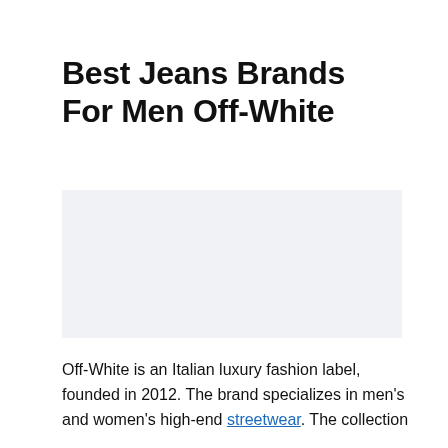Best Jeans Brands For Men Off-White
[Figure (photo): Image placeholder area, light gray background, likely containing a product or fashion photo related to Off-White jeans.]
Off-White is an Italian luxury fashion label, founded in 2012. The brand specializes in men's and women's high-end streetwear. The collection